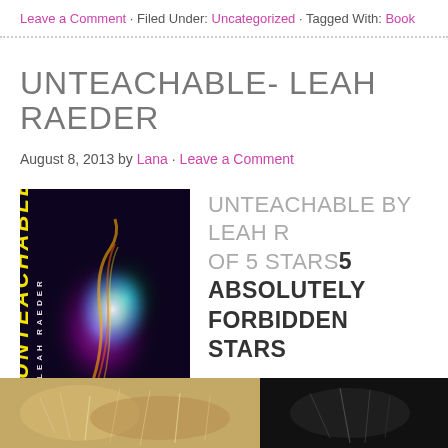Leave a Comment · Filed Under: Uncategorized · Tagged With: Book...
UNTEACHABLE- LEAH RAEDER
August 8, 2013 by Lana · Leave a Comment
[Figure (photo): Book cover of Unteachable by Leah Raeder — dark background with colorful neon/flame figure, yellow title text]
UNTEACHABLE BY LEAH R... OF 5 STARS 5 ABSOLUTELY FORBIDDEN STARS
[Figure (photo): Bottom strip of two photos — left shows a fuzzy/hairy plant or creature in warm tones, right shows a dark background with feathers or insects]